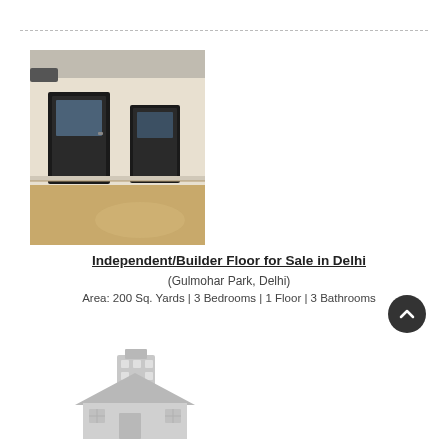[Figure (photo): Interior photo of a room with wooden floor, white walls, and two dark-framed doors]
Independent/Builder Floor for Sale in Delhi
(Gulmohar Park, Delhi)
Area: 200 Sq. Yards | 3 Bedrooms | 1 Floor | 3 Bathrooms
[Figure (illustration): No Image Available placeholder with building/house icon in gray]